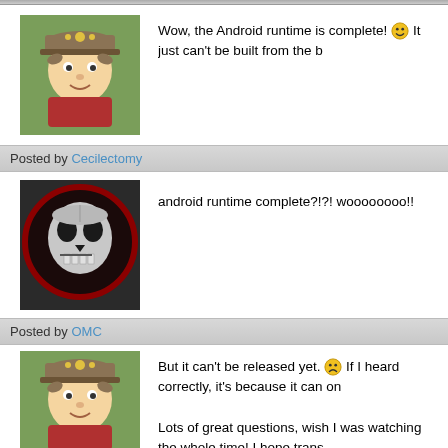Wow, the Android runtime is complete! 😊 It just can't be built from the b
Posted by Cecilectomy
android runtime complete?!?! woooooooo!!
Posted by OMC
But it can't be released yet. 😞 If I heard correctly, it's because it can on
Lots of great questions, wish I was watching the whole time! I hope trans
Posted by Rikus
That was pretty cool actually, from now on every convention should have